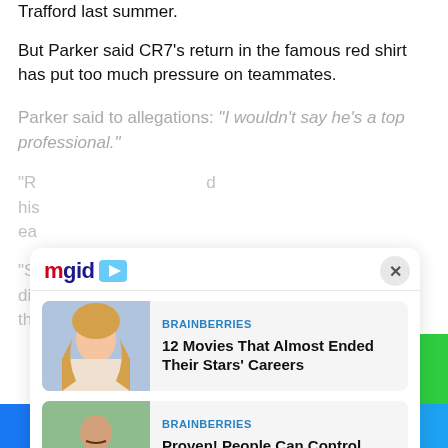Trafford last summer.
But Parker said CR7's return in the famous red shirt has put too much pressure on teammates.
Parker said to allegations: “I wouldn’t say he’s a top professional.
“R... d his... ea
“So... dif... thi
[Figure (screenshot): MGID content recommendation widget with two cards: 1) BRAINBERRIES - '12 Movies That Almost Ended Their Stars' Careers' with a photo of a woman with blonde hair; 2) BRAINBERRIES - 'Proven! People Can Control Objects With Their Minds' with a photo of a man gesturing with hands. Widget has close (X) button and mgid logo.]
[Figure (other): Facebook and Twitter share bar at the bottom of the page]